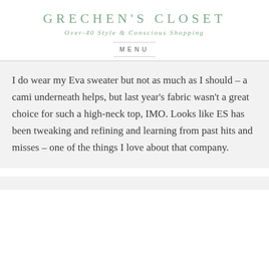GRECHEN'S CLOSET
Over-40 Style & Conscious Shopping
MENU
I do wear my Eva sweater but not as much as I should – a cami underneath helps, but last year's fabric wasn't a great choice for such a high-neck top, IMO. Looks like ES has been tweaking and refining and learning from past hits and misses – one of the things I love about that company.